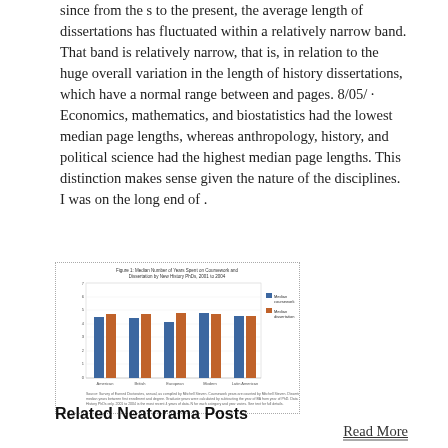since from the s to the present, the average length of dissertations has fluctuated within a relatively narrow band. That band is relatively narrow, that is, in relation to the huge overall variation in the length of history dissertations, which have a normal range between and pages. 8/05/ · Economics, mathematics, and biostatistics had the lowest median page lengths, whereas anthropology, history, and political science had the highest median page lengths. This distinction makes sense given the nature of the disciplines. I was on the long end of .
[Figure (grouped-bar-chart): Grouped bar chart showing median number of years spent on coursework and dissertation by new History PhDs from 2001 to 2004, with categories: American, British, European, Modern, Latin American. Two series: blue (coursework) and orange (dissertation).]
Read More
Related Neatorama Posts